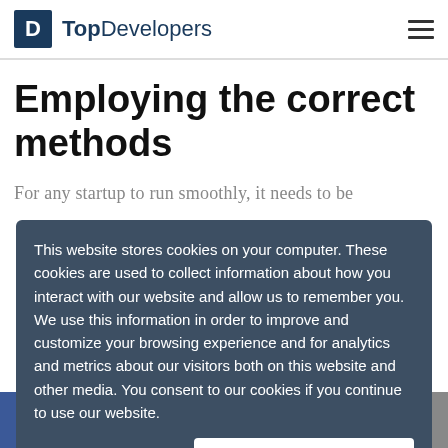TopDevelopers
Employing the correct methods
For any startup to run smoothly, it needs to be
This website stores cookies on your computer. These cookies are used to collect information about how you interact with our website and allow us to remember you. We use this information in order to improve and customize your browsing experience and for analytics and metrics about our visitors both on this website and other media. You consent to our cookies if you continue to use our website.
Accept
f  Twitter  in  Email